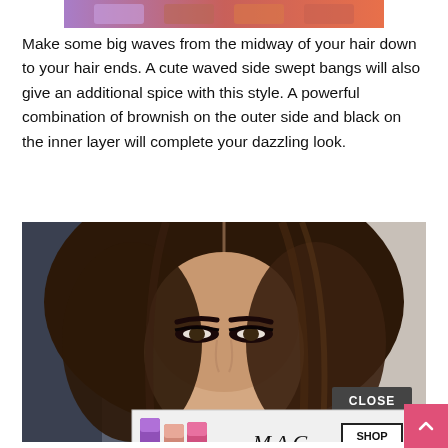[Figure (photo): Top banner showing colorful lipstick/cosmetic products in purple and orange-red tones, partially cropped at top of page]
Make some big waves from the midway of your hair down to your hair ends. A cute waved side swept bangs will also give an additional spice with this style. A powerful combination of brownish on the outer side and black on the inner layer will complete your dazzling look.
[Figure (photo): Close-up photo of a young woman with dark brown hair parted in the middle, dramatic dark eye makeup, facing forward. A MAC cosmetics advertisement banner overlays the bottom of the photo, with a 'CLOSE' button in the lower right and a pink scroll-up arrow button on the far right.]